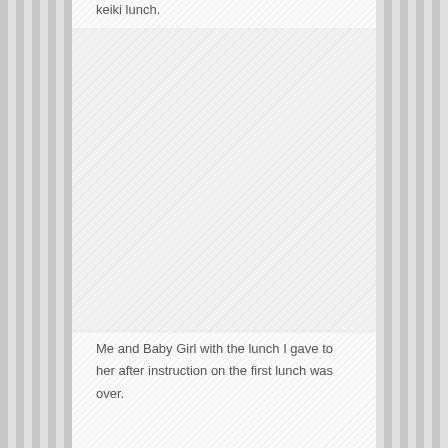keiki lunch.
[Figure (photo): Photo placeholder area — image of person and Baby Girl with lunch]
Me and Baby Girl with the lunch I gave to her after instruction on the first lunch was over.